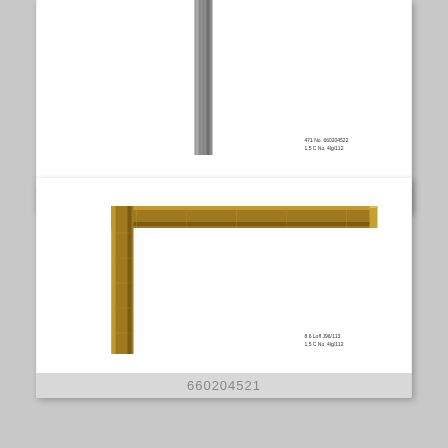[Figure (photo): Top portion of a product card showing a vertical grey/silver picture frame corner piece (L-shaped moulding sample) against white background, with small text label in lower right]
660204522
[Figure (photo): Product card showing a gold/gilded picture frame corner piece (L-shaped moulding sample) against white background, with small text label in lower right]
660204521